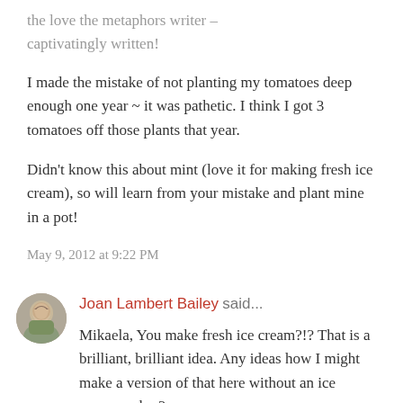the love the metaphors writer – captivatingly written!
I made the mistake of not planting my tomatoes deep enough one year ~ it was pathetic. I think I got 3 tomatoes off those plants that year.
Didn't know this about mint (love it for making fresh ice cream), so will learn from your mistake and plant mine in a pot!
May 9, 2012 at 9:22 PM
Joan Lambert Bailey said...
Mikaela, You make fresh ice cream?!? That is a brilliant, brilliant idea. Any ideas how I might make a version of that here without an ice cream maker?
May 11, 2012 at 8:35 PM